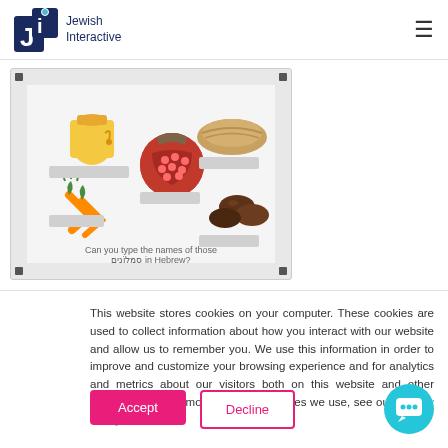Jewish Interactive
[Figure (screenshot): Interactive educational activity showing Jewish foods (pomegranate, honey jar, bread, carrots, dates) with text input fields asking 'Can you type the names of those סִמְלוֹנִים in Hebrew?']
This website stores cookies on your computer. These cookies are used to collect information about how you interact with our website and allow us to remember you. We use this information in order to improve and customize your browsing experience and for analytics and metrics about our visitors both on this website and other media. To find out more about the cookies we use, see our Privacy Policy.
Accept
Decline